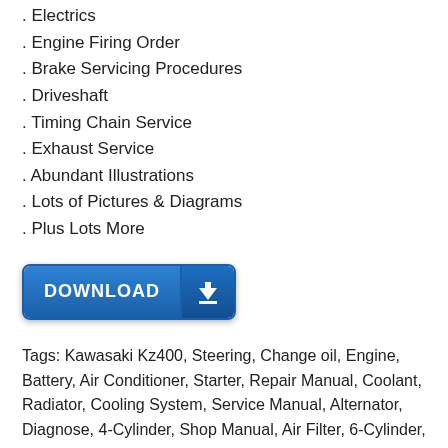. Electrics
. Engine Firing Order
. Brake Servicing Procedures
. Driveshaft
. Timing Chain Service
. Exhaust Service
. Abundant Illustrations
. Lots of Pictures & Diagrams
. Plus Lots More
[Figure (other): Blue download button with white bold text DOWNLOAD and a downward arrow icon on the right side]
Tags: Kawasaki Kz400, Steering, Change oil, Engine, Battery, Air Conditioner, Starter, Repair Manual, Coolant, Radiator, Cooling System, Service Manual, Alternator, Diagnose, 4-Cylinder, Shop Manual, Air Filter, 6-Cylinder, Suspension, Brakes, Troubleshooting, Spark plugs, Timing Belt, Air Bags